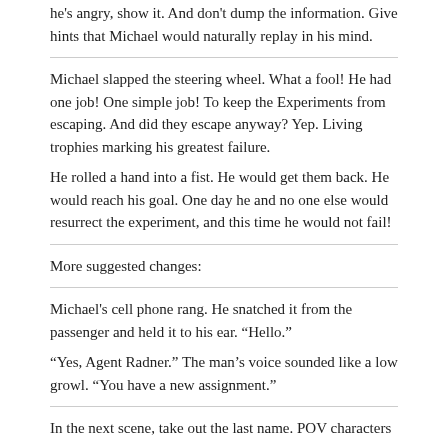he's angry, show it. And don't dump the information. Give hints that Michael would naturally replay in his mind.
Michael slapped the steering wheel. What a fool! He had one job! One simple job! To keep the Experiments from escaping. And did they escape anyway? Yep. Living trophies marking his greatest failure.
He rolled a hand into a fist. He would get them back. He would reach his goal. One day he and no one else would resurrect the experiment, and this time he would not fail!
More suggested changes:
Michael's cell phone rang. He snatched it from the passenger and held it to his ear. “Hello.”
“Yes, Agent Radner.” The man's voice sounded like a low growl. “You have a new assignment.”
In the next scene, take out the last name. POV characters